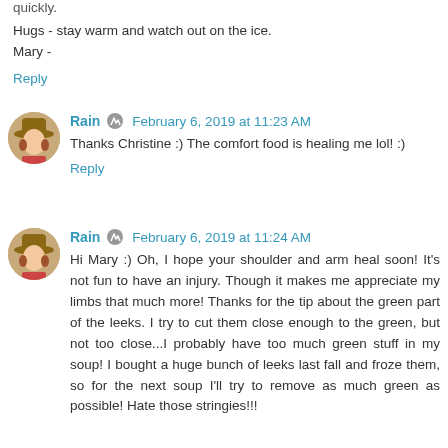quickly.
Hugs - stay warm and watch out on the ice.
Mary -
Reply
Rain   February 6, 2019 at 11:23 AM
Thanks Christine :) The comfort food is healing me lol! :)
Reply
Rain   February 6, 2019 at 11:24 AM
Hi Mary :) Oh, I hope your shoulder and arm heal soon! It's not fun to have an injury. Though it makes me appreciate my limbs that much more! Thanks for the tip about the green part of the leeks. I try to cut them close enough to the green, but not too close...I probably have too much green stuff in my soup! I bought a huge bunch of leeks last fall and froze them, so for the next soup I'll try to remove as much green as possible! Hate those stringies!!!